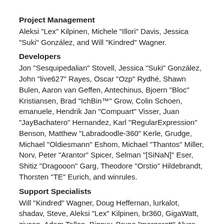Project Management
Aleksi "Lex" Kilpinen, Michele "Illori" Davis, Jessica "Suki" González, and Will "Kindred" Wagner.
Developers
Jon "Sesquipedalian" Stovell, Jessica "Suki" González, John "live627" Rayes, Oscar "Ozp" Rydhé, Shawn Bulen, Aaron van Geffen, Antechinus, Bjoern "Bloc" Kristiansen, Brad "IchBin™" Grow, Colin Schoen, emanuele, Hendrik Jan "Compuart" Visser, Juan "JayBachatero" Hernandez, Karl "RegularExpression" Benson, Matthew "Labradoodle-360" Kerle, Grudge, Michael "Oldiesmann" Eshom, Michael "Thantos" Miller, Norv, Peter "Arantor" Spicer, Selman "[SiNaN]" Eser, Shitiz "Dragooon" Garg, Theodore "Orstio" Hildebrandt, Thorsten "TE" Eurich, and winrules.
Support Specialists
Will "Kindred" Wagner, Doug Heffernan, lurkalot, shadav, Steve, Aleksi "Lex" Kilpinen, br360, GigaWatt, ziycon, Adam Tallon, Bigguy, Bruno "margarett" Alves, CapadY, ChalkCat, Chas Large, Duncan85, gbsothere, JimM, Justyne, Kat, Kevin "greyknight17" Hou, Krash, Mashby, Michael Colin Blaber, Old Fossil, S-Ace, Storman™, Wade "sησω" Poulsen, and xenovanis.
Customizers